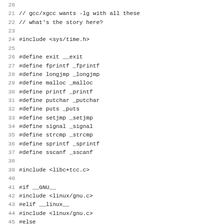Source code listing lines 20-51 showing C preprocessor directives including #include, #define, and #if/#elif/#else/#endif conditional compilation blocks.